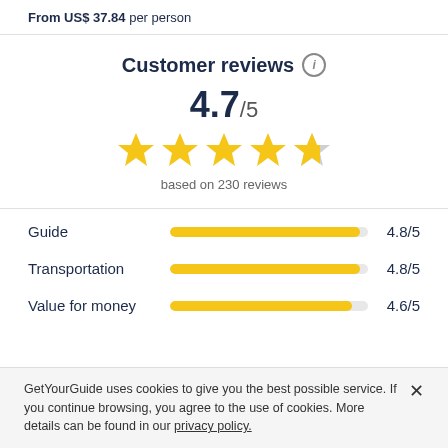From US$ 37.84 per person
Customer reviews (i)
4.7/5
[Figure (other): 4 full yellow stars and 1 partial (70%) yellow/grey star representing a 4.7 out of 5 star rating]
based on 230 reviews
| Category | Bar | Score |
| --- | --- | --- |
| Guide |  | 4.8/5 |
| Transportation |  | 4.8/5 |
| Value for money |  | 4.6/5 |
GetYourGuide uses cookies to give you the best possible service. If you continue browsing, you agree to the use of cookies. More details can be found in our privacy policy.